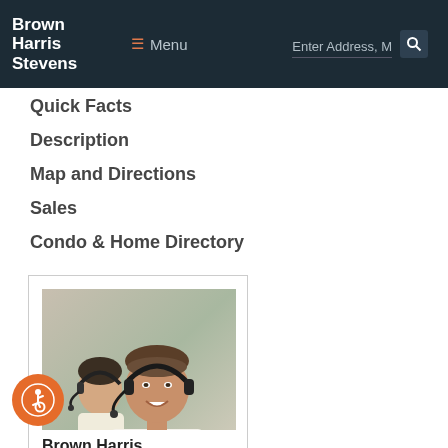Brown Harris Stevens — Menu — Enter Address, M [search]
PROPERTY MENU
Quick Facts
Description
Map and Directions
Sales
Condo & Home Directory
[Figure (photo): Agent photo: smiling man in white shirt wearing headset, woman in background also wearing headset]
Brown Harris Stevens
Miami Real Estate
(305) 726-0100